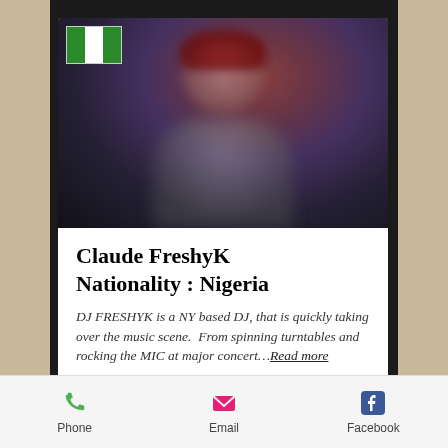[Figure (photo): Blurred photo of a person (DJ FreshyK) wearing a red cap and dark clothing, with a Nigerian flag overlay in the top-left corner of the photo.]
Claude FreshyK Nationality : Nigeria
DJ FRESHYK is a NY based DJ, that is quickly taking over the music scene.  From spinning turntables and rocking the MIC at major concert...Read more